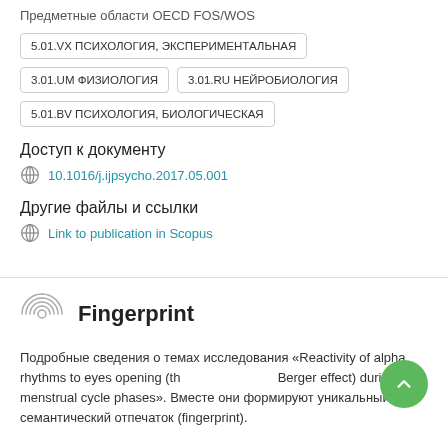Предметные области OECD FOS/WOS
5.01.VX ПСИХОЛОГИЯ, ЭКСПЕРИМЕНТАЛЬНАЯ
3.01.UM ФИЗИОЛОГИЯ
3.01.RU НЕЙРОБИОЛОГИЯ
5.01.BV ПСИХОЛОГИЯ, БИОЛОГИЧЕСКАЯ
Доступ к документу
10.1016/j.ijpsycho.2017.05.001
Другие файлы и ссылки
Link to publication in Scopus
Fingerprint
Подробные сведения о темах исследования «Reactivity of alpha rhythms to eyes opening (the Berger effect) during menstrual cycle phases». Вместе они формируют уникальный семантический отпечаток (fingerprint).